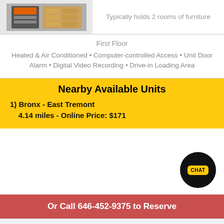[Figure (photo): Storage unit interior thumbnail image showing orange-lit shelving units]
Typically holds 2 rooms of furniture
First Floor
Heated & Air Conditioned • Computer-controlled Access • Unit Door Alarm • Digital Video Recording • Drive-in Loading Area
Nearby Available Units
1) Bronx - East Tremont
4.14 miles - Online Price: $171
Or Call 646-452-9375 to Reserve
Standard: $207   Online:
5x10x8